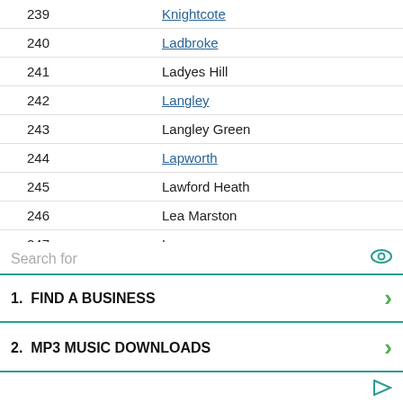| # | Name |
| --- | --- |
| 239 | Knightcote |
| 240 | Ladbroke |
| 241 | Ladyes Hill |
| 242 | Langley |
| 243 | Langley Green |
| 244 | Lapworth |
| 245 | Lawford Heath |
| 246 | Lea Marston |
| 247 | Leam |
| 248 | Leamington Hastings |
| 249 | Leek Wootton |
| 250 | Leicester Grange |
Search for
1.  FIND A BUSINESS
2.  MP3 MUSIC DOWNLOADS